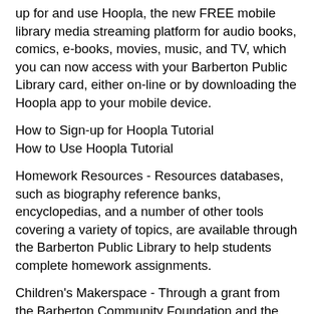up for and use Hoopla, the new FREE mobile library media streaming platform for audio books, comics, e-books, movies, music, and TV, which you can now access with your Barberton Public Library card, either on-line or by downloading the Hoopla app to your mobile device.
How to Sign-up for Hoopla Tutorial
How to Use Hoopla Tutorial
Homework Resources - Resources databases, such as biography reference banks, encyclopedias, and a number of other tools covering a variety of topics, are available through the Barberton Public Library to help students complete homework assignments.
Children's Makerspace - Through a grant from the Barberton Community Foundation and the generosity of the both the Barberton Kiwanis and the Magic City Kiwanis, the library has been able to purchase a variety of supplies and equipment to create a Makerspace in which the children of Barberton can build, discover and create. This fall, we will offer a variety of activities related to our Makerspace through Take & Make activity bags and